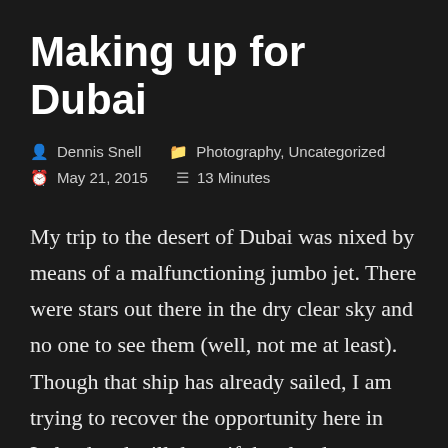Making up for Dubai
Dennis Snell   Photography, Uncategorized   May 21, 2015   13 Minutes
My trip to the desert of Dubai was nixed by means of a malfunctioning jumbo jet. There were stars out there in the dry clear sky and no one to see them (well, not me at least). Though that ship has already sailed, I am trying to recover the opportunity here in Ireland and will do so if the clouds stay away. I hope you enjoy this journey-journal. It's a long post and somewhat stream-of-conscious, but I wanted to do the best I could to share this memorable